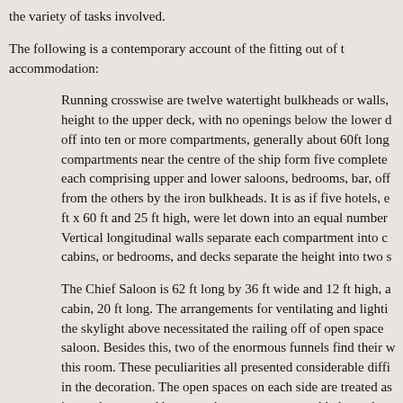the variety of tasks involved.
The following is a contemporary account of the fitting out of t accommodation:
Running crosswise are twelve watertight bulkheads or walls, height to the upper deck, with no openings below the lower d off into ten or more compartments, generally about 60ft long compartments near the centre of the ship form five complete each comprising upper and lower saloons, bedrooms, bar, off from the others by the iron bulkheads. It is as if five hotels, e ft x 60 ft and 25 ft high, were let down into an equal number Vertical longitudinal walls separate each compartment into c cabins, or bedrooms, and decks separate the height into two s
The Chief Saloon is 62 ft long by 36 ft wide and 12 ft high, a cabin, 20 ft long. The arrangements for ventilating and lighti the skylight above necessitated the railing off of open space saloon. Besides this, two of the enormous funnels find their w this room. These peculiarities all presented considerable diffi in the decoration. The open spaces on each side are treated as iron columns; and between these are ornamental balustrades, delicate design. Both these were cast by the Coalbrookdale I beautiful specimens of their work. This ironwork is all treate in imitation of oxydised silver relieved with gilding.